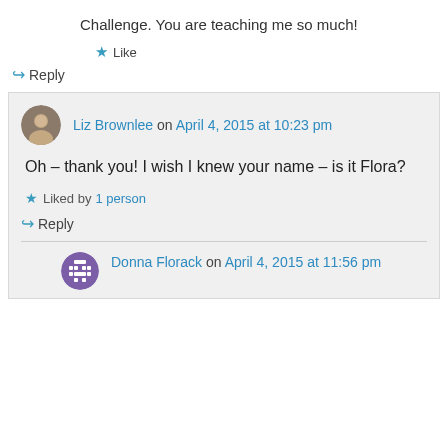Challenge. You are teaching me so much!
★ Like
↪ Reply
Liz Brownlee on April 4, 2015 at 10:23 pm
Oh – thank you! I wish I knew your name – is it Flora?
★ Liked by 1 person
↪ Reply
Donna Florack on April 4, 2015 at 11:56 pm